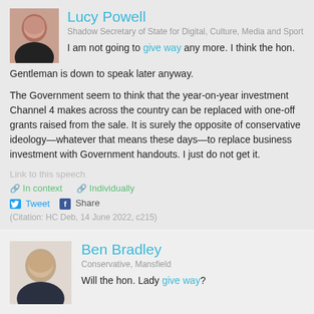Lucy Powell
Shadow Secretary of State for Digital, Culture, Media and Sport
I am not going to give way any more. I think the hon. Gentleman is down to speak later anyway.
The Government seem to think that the year-on-year investment Channel 4 makes across the country can be replaced with one-off grants raised from the sale. It is surely the opposite of conservative ideology—whatever that means these days—to replace business investment with Government handouts. I just do not get it.
Link to this speech
In context   Individually
Tweet   Share
(Citation: HC Deb, 14 June 2022, c215)
Ben Bradley
Conservative, Mansfield
Will the hon. Lady give way?